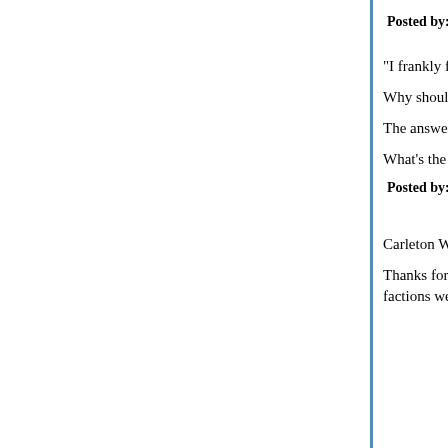Posted by: bc | April 13, 2009 at 05:10 PM
"I frankly fail to see how a government by the people of this country) under a constitution of at practices in other countries in determining just gave it."
Why should judges look at law review articles?
The answer seems to be the same: to consider w ideas and sound reasoning or not.
What's the problem here?
Posted by: Gary Farber | April 13, 2009 at 05:14 PM
Carleton Wu,
Thanks for your comments. My belief is that Ame and that we are open to learn and grow. Two thing keen about our claims of exceptionalism usually b rights. At great costs to all factions we have made much closer to the ideals expressed in the foundi